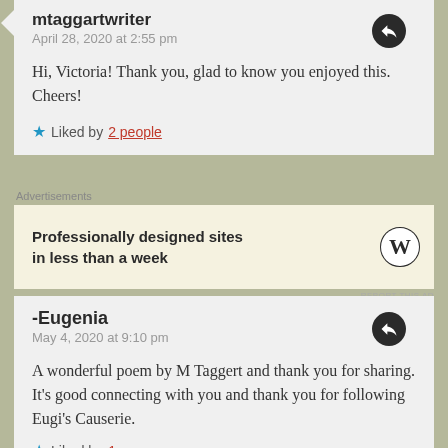mtaggartwriter
April 28, 2020 at 2:55 pm
Hi, Victoria! Thank you, glad to know you enjoyed this. Cheers!
★ Liked by 2 people
Advertisements
Professionally designed sites in less than a week
REPORT THIS AD
-Eugenia
May 4, 2020 at 9:10 pm
A wonderful poem by M Taggert and thank you for sharing. It's good connecting with you and thank you for following Eugi's Causerie.
★ Liked by 1 person